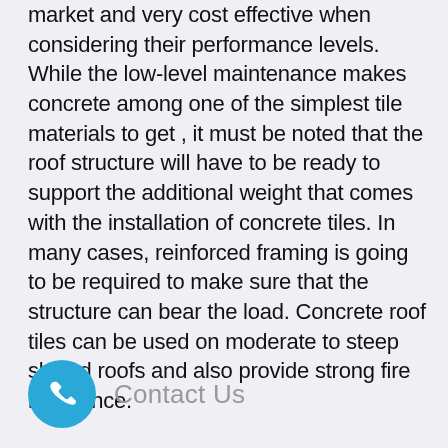market and very cost effective when considering their performance levels. While the low-level maintenance makes concrete among one of the simplest tile materials to get , it must be noted that the roof structure will have to be ready to support the additional weight that comes with the installation of concrete tiles. In many cases, reinforced framing is going to be required to make sure that the structure can bear the load. Concrete roof tiles can be used on moderate to steep sloped roofs and also provide strong fire resistance.
[Figure (other): A circular blue phone/call button icon with a white telephone handset symbol, followed by 'Contact Us' text in grey]